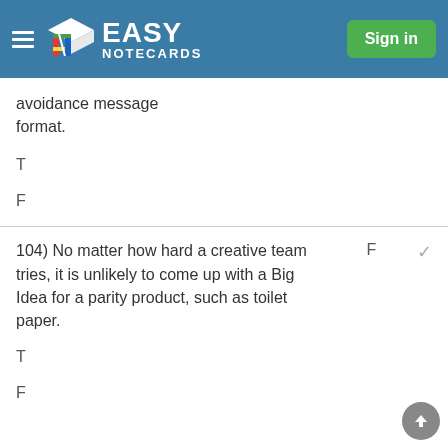Easy Notecards — Sign in
avoidance message format.
T
F
104) No matter how hard a creative team tries, it is unlikely to come up with a Big Idea for a parity product, such as toilet paper.
T
F